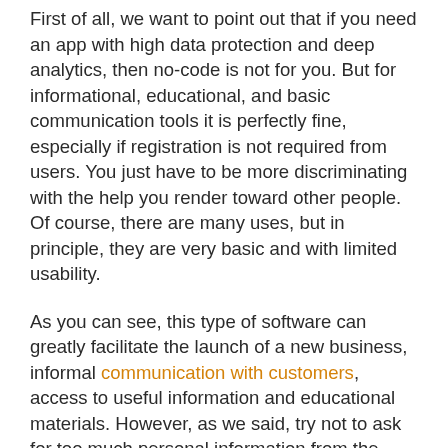First of all, we want to point out that if you need an app with high data protection and deep analytics, then no-code is not for you. But for informational, educational, and basic communication tools it is perfectly fine, especially if registration is not required from users. You just have to be more discriminating with the help you render toward other people. Of course, there are many uses, but in principle, they are very basic and with limited usability.
As you can see, this type of software can greatly facilitate the launch of a new business, informal communication with customers, access to useful information and educational materials. However, as we said, try not to ask for too much personal information from the user, because it is open-source software and it is difficult to establish...